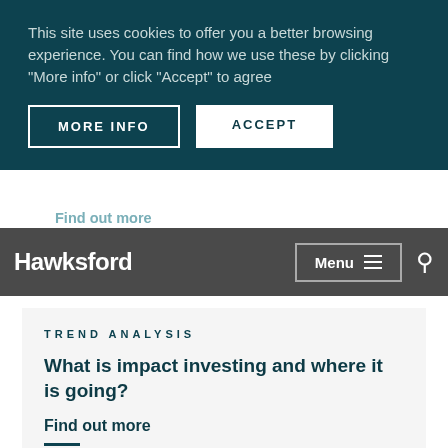This site uses cookies to offer you a better browsing experience. You can find how we use these by clicking “More info” or click “Accept” to agree
MORE INFO
ACCEPT
Find out more
Hawksford
Menu
TREND ANALYSIS
What is impact investing and where it is going?
Find out more